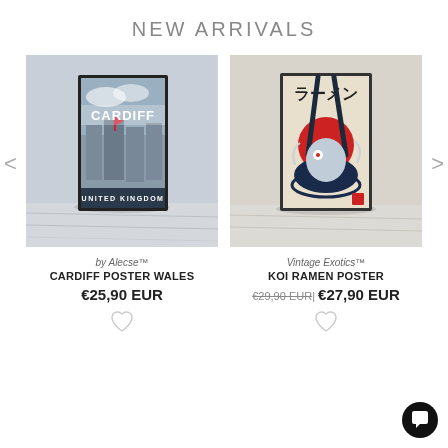NEW ARRIVALS
[Figure (photo): Cardiff poster Wales product photo in a frame leaning against a wall]
by Alecse™
CARDIFF POSTER WALES
€25,90 EUR
[Figure (photo): Koi Ramen poster product photo in a frame leaning against a wall]
Vintage Exotics™
KOI RAMEN POSTER
€29,90 EUR | €27,90 EUR